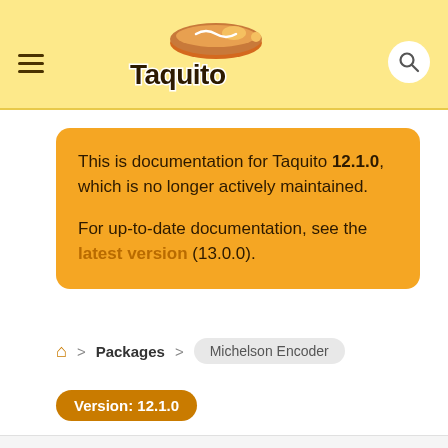Taquito
This is documentation for Taquito 12.1.0, which is no longer actively maintained.

For up-to-date documentation, see the latest version (13.0.0).
Home > Packages > Michelson Encoder
Version: 12.1.0